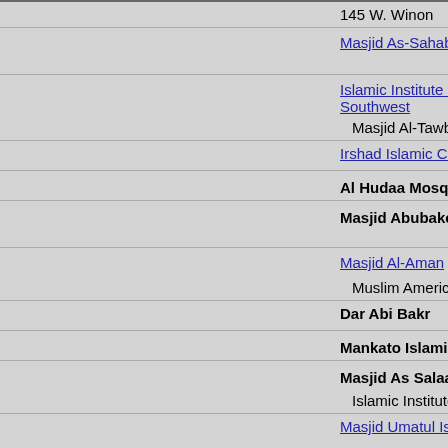|  | Name | Address |
| --- | --- | --- |
|  | 145 W. Winona (partial, top) |
| Masjid As-Sahabah | 3435 Washing... 200 |
| Islamic Institute of Minnesota Southwest | 6861 Flying C... |
| Masjid Al-Tawba |  |
| Irshad Islamic Center | 6520 Eden Va... |
| Al Hudaa Mosque | 7 3Rd Ave. N... |
| Masjid Abubaker Sediq | 1400 Cannon... 1 |
| Masjid Al-Aman | 4100 66th St. |
| Muslim American Society |  |
| Dar Abi Bakr | 329 E. Plum S... |
| Mankato Islamic Center | 329 N. Broad... |
| Masjid As Salaam | 1460 Skillman... |
| Islamic Institute of Minnesota |  |
| Masjid Umatul Islam Center | 3015 2Nd Ave... |